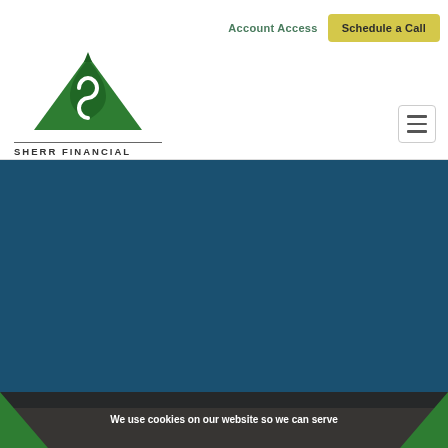[Figure (logo): Sherr Financial Associates logo: green mountain/arrow SVG mark above a horizontal rule and the text SHERR FINANCIAL ASSOCIATES in spaced capitals]
Account Access
Schedule a Call
[Figure (other): Hamburger menu icon — three horizontal lines inside a rounded rectangle border]
[Figure (photo): Dark teal/navy blue hero background section]
We use cookies on our website so we can serve